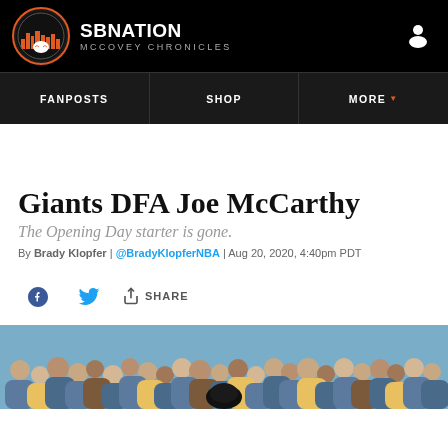SB Nation | McCovey Chronicles
Giants DFA Joe McCarthy
The Opening Day starter is gone.
By Brady Klopfer | @BradyKlopferNBA | Aug 20, 2020, 4:40pm PDT
[Figure (photo): Baseball crowd photo at stadium, bottom portion of article page]